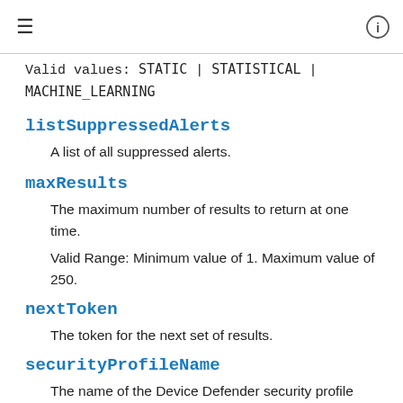≡  ⓘ
Valid values: STATIC | STATISTICAL | MACHINE_LEARNING
listSuppressedAlerts
A list of all suppressed alerts.
maxResults
The maximum number of results to return at one time.
Valid Range: Minimum value of 1. Maximum value of 250.
nextToken
The token for the next set of results.
securityProfileName
The name of the Device Defender security profile for which violations are listed.